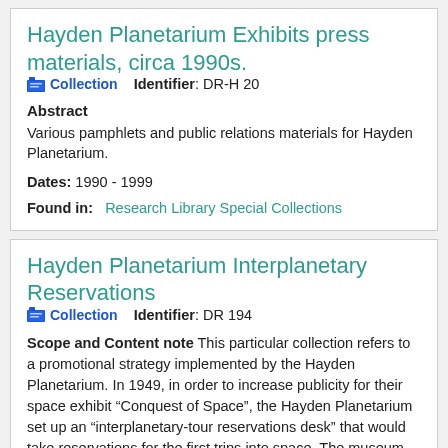Hayden Planetarium Exhibits press materials, circa 1990s.
Collection   Identifier: DR-H 20
Abstract
Various pamphlets and public relations materials for Hayden Planetarium.
Dates: 1990 - 1999
Found in:   Research Library Special Collections
Hayden Planetarium Interplanetary Reservations
Collection   Identifier: DR 194
Scope and Content note This particular collection refers to a promotional strategy implemented by the Hayden Planetarium. In 1949, in order to increase publicity for their space exhibit “Conquest of Space”, the Hayden Planetarium set up an “interplanetary-tour reservations desk” that would take reservations for the first trips into space. The museum promised that